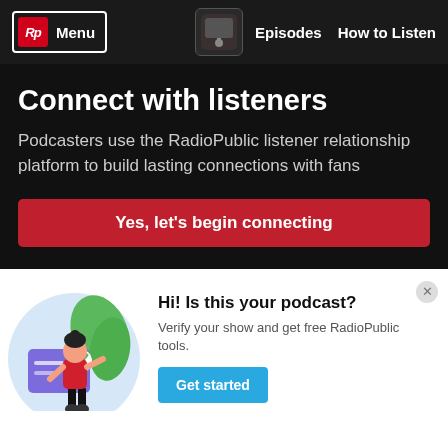Rp Menu | Episodes | How to Listen
Connect with listeners
Podcasters use the RadioPublic listener relationship platform to build lasting connections with fans
Yes, let's begin connecting
[Figure (illustration): Illustration of a woman standing next to a large card with a checkmark, surrounded by green leaves, on a light blue circular background]
Hi! Is this your podcast?
Verify your show and get free RadioPublic tools.
Get started